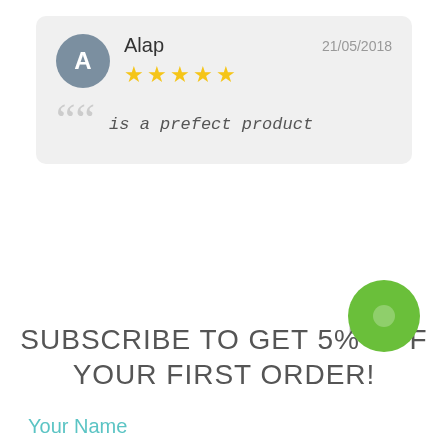Alap — 21/05/2018 — ★★★★★ — is a prefect product
Powered by
SUBSCRIBE TO GET 5% OFF YOUR FIRST ORDER!
Your Name